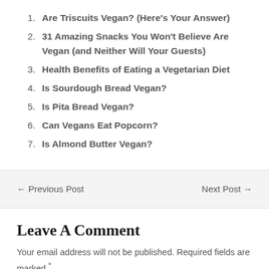Are Triscuits Vegan? (Here's Your Answer)
31 Amazing Snacks You Won't Believe Are Vegan (and Neither Will Your Guests)
Health Benefits of Eating a Vegetarian Diet
Is Sourdough Bread Vegan?
Is Pita Bread Vegan?
Can Vegans Eat Popcorn?
Is Almond Butter Vegan?
← Previous Post
Next Post →
Leave A Comment
Your email address will not be published. Required fields are marked *